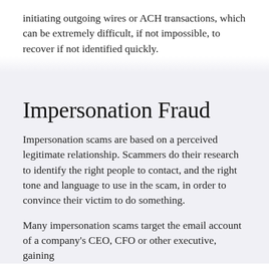initiating outgoing wires or ACH transactions, which can be extremely difficult, if not impossible, to recover if not identified quickly.
Impersonation Fraud
Impersonation scams are based on a perceived legitimate relationship. Scammers do their research to identify the right people to contact, and the right tone and language to use in the scam, in order to convince their victim to do something.
Many impersonation scams target the email account of a company's CEO, CFO or other executive, gaining